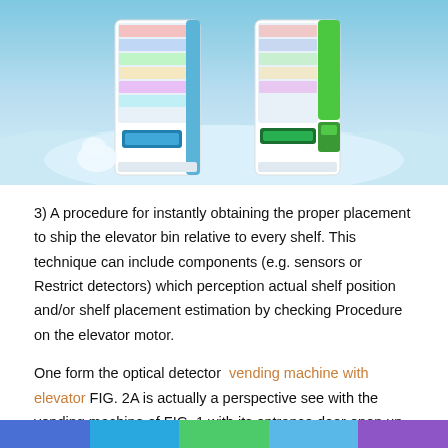[Figure (photo): Header image showing two vending machines (one blue, one with green panel) against a snowy arctic/icy blue background with ice formations]
3) A procedure for instantly obtaining the proper placement to ship the elevator bin relative to every shelf. This technique can include components (e.g. sensors or Restrict detectors) which perception actual shelf position and/or shelf placement estimation by checking Procedure on the elevator motor.
One form the optical detector  vending machine with elevator FIG. 2A is actually a perspective see with the vending machine of FIG. 1 with its entrance door open up, illustrating the products dispensers at numerous vertical amounts or shelves and the elevator mounted on The within with the
colored bar footer